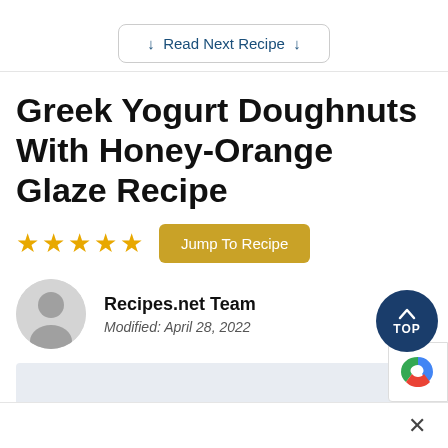↓ Read Next Recipe ↓
Greek Yogurt Doughnuts With Honey-Orange Glaze Recipe
★★★★★  Jump To Recipe
Recipes.net Team
Modified: April 28, 2022